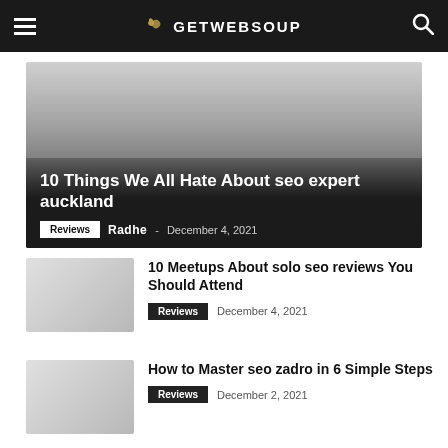GETWEBSOUP
[Figure (photo): Hero image for article '10 Things We All Hate About seo expert auckland' — dark gradient placeholder image]
10 Things We All Hate About seo expert auckland
Reviews · Radhe - December 4, 2021
10 Meetups About solo seo reviews You Should Attend
Reviews  December 4, 2021
How to Master seo zadro in 6 Simple Steps
Reviews  December 2, 2021